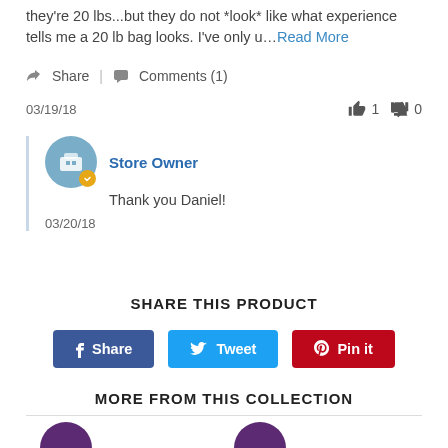they're 20 lbs...but they do not *look* like what experience tells me a 20 lb bag looks. I've only u... Read More
Share | Comments (1)
03/19/18
1  0
Store Owner
Thank you Daniel!
03/20/18
SHARE THIS PRODUCT
Share  Tweet  Pin it
MORE FROM THIS COLLECTION